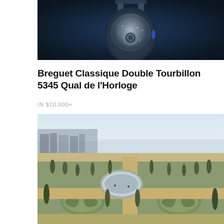[Figure (photo): Close-up photo of a luxury watch tourbillon mechanism against a dark navy blue background]
Breguet Classique Double Tourbillon 5345 Qual de l'Horloge
IN $10,000+
[Figure (photo): Aerial photograph of the formal gardens of Versailles palace showing ornate parterre patterns, a circular reflecting pool, tall cypress trees, and a misty lake/canal in the background]